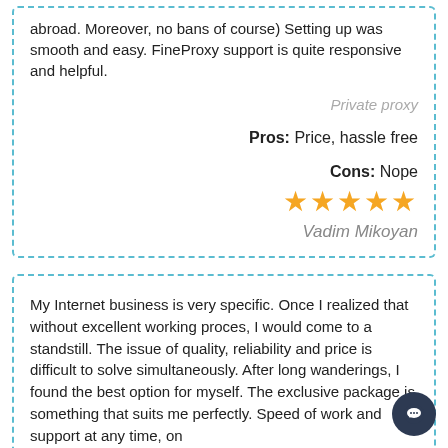abroad. Moreover, no bans of course) Setting up was smooth and easy. FineProxy support is quite responsive and helpful.
Private proxy
Pros:  Price, hassle free
Cons:  Nope
[Figure (other): Five gold stars rating]
Vadim Mikoyan
My Internet business is very specific. Once I realized that without excellent working proces, I would come to a standstill. The issue of quality, reliability and price is difficult to solve simultaneously. After long wanderings, I found the best option for myself. The exclusive package is something that suits me perfectly. Speed of work and support at any time, on